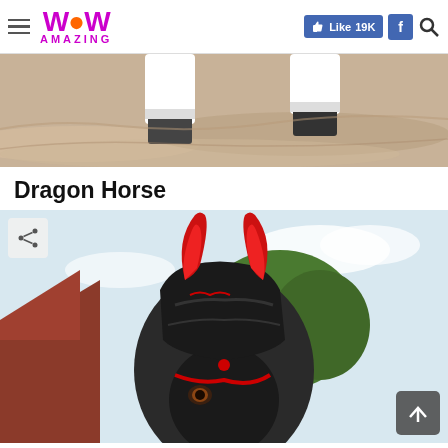WOW AMAZING — Like 19K [Facebook] [Search]
[Figure (photo): Close-up of horse hooves with white leg wraps walking on sand]
Dragon Horse
[Figure (photo): Horse wearing a black and red dragon costume headpiece with large red horns, standing outdoors near trees and a barn]